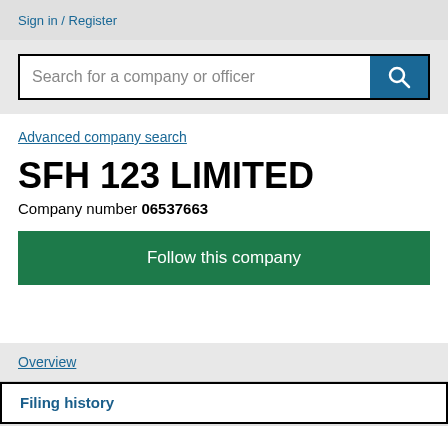Sign in / Register
Search for a company or officer
Advanced company search
SFH 123 LIMITED
Company number 06537663
Follow this company
Overview
Filing history